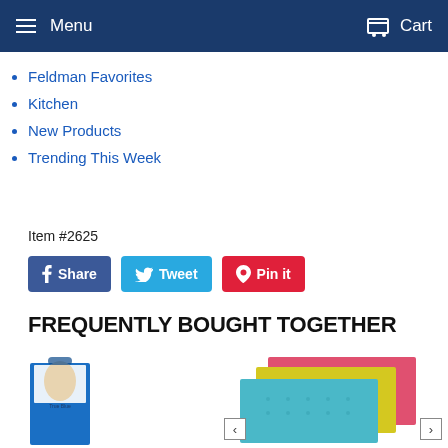Menu  Cart
Feldman Favorites
Kitchen
New Products
Trending This Week
Item #2625
Share  Tweet  Pin it
FREQUENTLY BOUGHT TOGETHER
[Figure (photo): Left product: blue package with illustrated woman, product label reads 'True Blue'. Right product: stacked colorful sponge cloths in blue, yellow, and pink/red.]